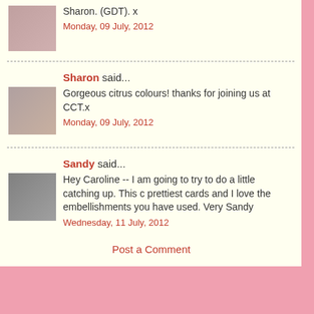Sharon. (GDT). x
Monday, 09 July, 2012
Sharon said...
Gorgeous citrus colours! thanks for joining us at CCT.x
Monday, 09 July, 2012
Sandy said...
Hey Caroline -- I am going to try to do a little catching up. This c prettiest cards and I love the embellishments you have used. Very Sandy
Wednesday, 11 July, 2012
Post a Comment